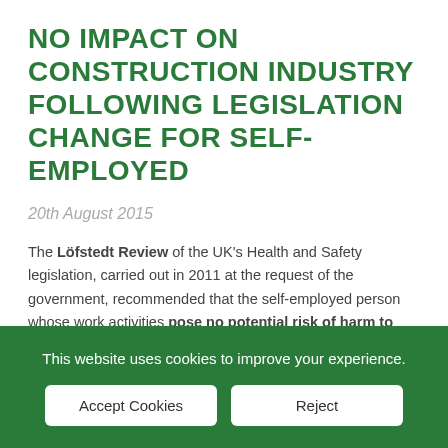NO IMPACT ON CONSTRUCTION INDUSTRY FOLLOWING LEGISLATION CHANGE FOR SELF-EMPLOYED
20th August 2015
The Löfstedt Review of the UK's Health and Safety legislation, carried out in 2011 at the request of the government, recommended that the self-employed person whose work activities pose no potential risk of harm to others should be exempt from health and safety law. This recommendation was accepted by Government and will come into force from October 1st 2015.
However the law says that there are certain work activities